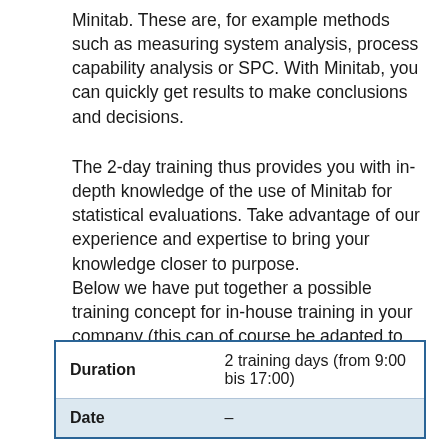Minitab. These are, for example methods such as measuring system analysis, process capability analysis or SPC. With Minitab, you can quickly get results to make conclusions and decisions.
The 2-day training thus provides you with in-depth knowledge of the use of Minitab for statistical evaluations. Take advantage of our experience and expertise to bring your knowledge closer to purpose. Below we have put together a possible training concept for in-house training in your company (this can of course be adapted to your individual needs).
|  |  |
| --- | --- |
| Duration | 2 training days (from 9:00 bis 17:00) |
| Date | – |